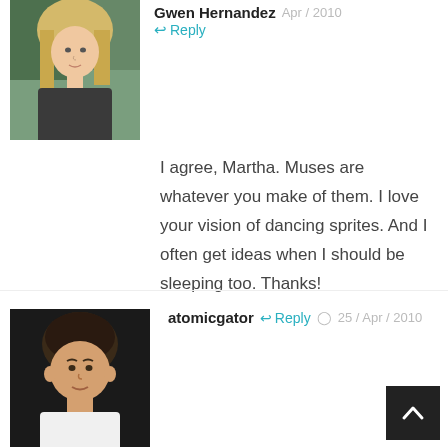[Figure (photo): Avatar photo of Gwen Hernandez - blonde woman]
Gwen Hernandez Apr / 2010 ↩ Reply
I agree, Martha. Muses are whatever you make of them. I love your vision of dancing sprites. And I often get ideas when I should be sleeping too. Thanks!
[Figure (photo): Avatar photo of atomicgator - man with dark hair]
atomicgator ↩ Reply ⊙ 25 / Apr / 2010
No doubt who my muse is, Calliope. (epic poetry) 🙂